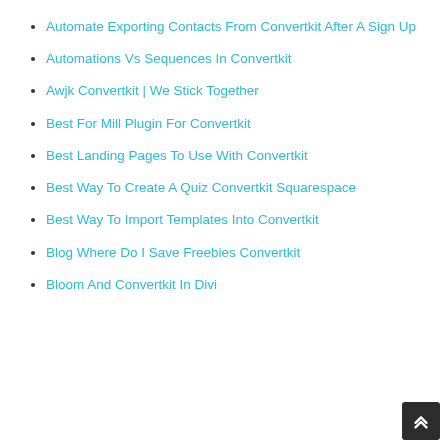Automate Exporting Contacts From Convertkit After A Sign Up
Automations Vs Sequences In Convertkit
Awjk Convertkit | We Stick Together
Best For Mill Plugin For Convertkit
Best Landing Pages To Use With Convertkit
Best Way To Create A Quiz Convertkit Squarespace
Best Way To Import Templates Into Convertkit
Blog Where Do I Save Freebies Convertkit
Bloom And Convertkit In Divi